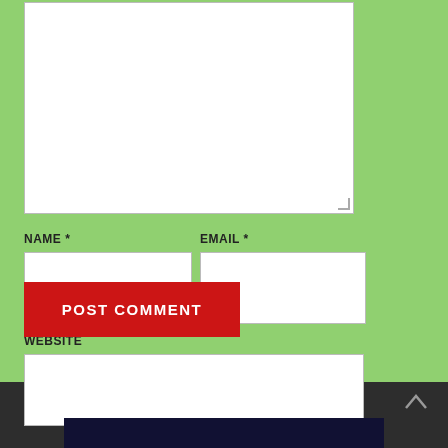[Figure (screenshot): Web comment form with a large textarea at top, NAME * and EMAIL * fields side by side, WEBSITE field below, and a red POST COMMENT button. Green background. Bottom dark strip with arrow icon.]
NAME *
EMAIL *
WEBSITE
POST COMMENT